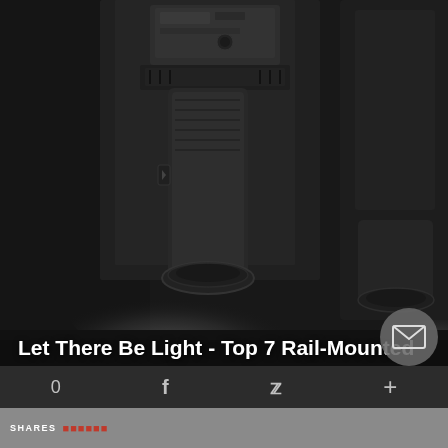[Figure (photo): Close-up dark photo of rail-mounted tactical flashlights/weapon lights mounted on a firearm rail, showing two light beams illuminating a dark surface below]
Let There Be Light - Top 7 Rail-Mounted
0  f  y  +